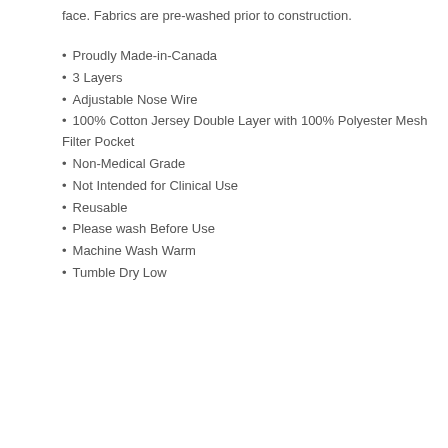face. Fabrics are pre-washed prior to construction.
Proudly Made-in-Canada
3 Layers
Adjustable Nose Wire
100% Cotton Jersey Double Layer with 100% Polyester Mesh Filter Pocket
Non-Medical Grade
Not Intended for Clinical Use
Reusable
Please wash Before Use
Machine Wash Warm
Tumble Dry Low
|  | XS | S | M | L |
| --- | --- | --- | --- | --- |
| Height* | 5" | 5.25" | 5.5" | 6" |